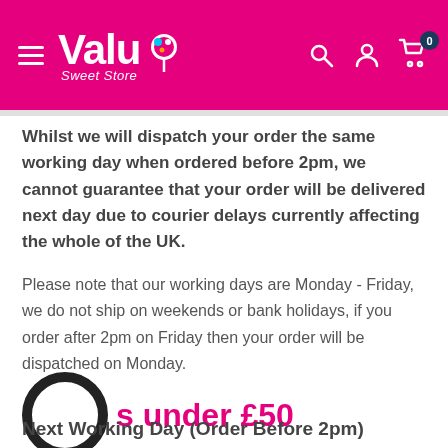[Figure (logo): Valu Sweet Store logo on magenta/pink header with hamburger menu, search, account, and cart icons]
Whilst we will dispatch your order the same working day when ordered before 2pm, we cannot guarantee that your order will be delivered next day due to courier delays currently affecting the whole of the UK.
Please note that our working days are Monday - Friday, we do not ship on weekends or bank holidays, if you order after 2pm on Friday then your order will be dispatched on Monday.
Orders under £50
Next Working Day (Order Before 2pm)